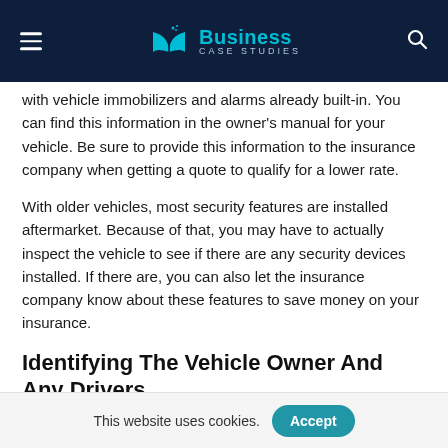Business Case Studies
with vehicle immobilizers and alarms already built-in. You can find this information in the owner's manual for your vehicle. Be sure to provide this information to the insurance company when getting a quote to qualify for a lower rate.
With older vehicles, most security features are installed aftermarket. Because of that, you may have to actually inspect the vehicle to see if there are any security devices installed. If there are, you can also let the insurance company know about these features to save money on your insurance.
Identifying The Vehicle Owner And Any Drivers
This website uses cookies.